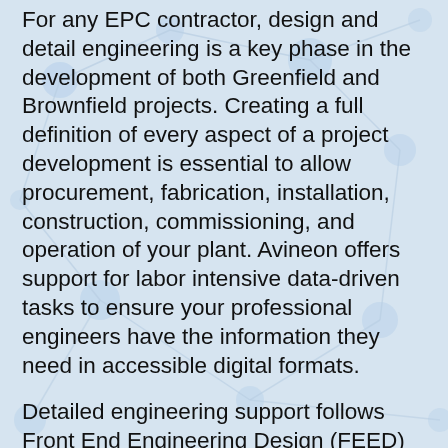For any EPC contractor, design and detail engineering is a key phase in the development of both Greenfield and Brownfield projects. Creating a full definition of every aspect of a project development is essential to allow procurement, fabrication, installation, construction, commissioning, and operation of your plant. Avineon offers support for labor intensive data-driven tasks to ensure your professional engineers have the information they need in accessible digital formats.
Detailed engineering support follows Front End Engineering Design (FEED) and basic engineering steps in the engineering process. This step includes the delivery of the high-quality, cost-effective and seamlessly-delivered engineering support input required during the construction phase of the project. Detailed engineering support deliverables therefore typically include detail diagrams and drawings